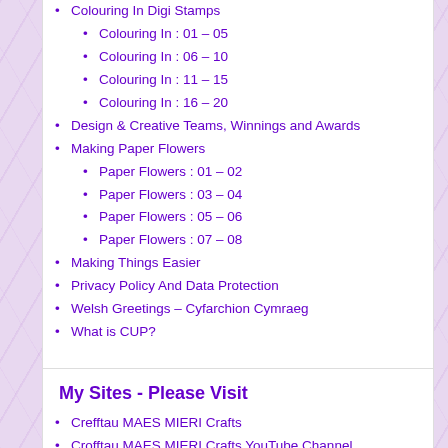Colouring In Digi Stamps
Colouring In : 01 – 05
Colouring In : 06 – 10
Colouring In : 11 – 15
Colouring In : 16 – 20
Design & Creative Teams, Winnings and Awards
Making Paper Flowers
Paper Flowers : 01 – 02
Paper Flowers : 03 – 04
Paper Flowers : 05 – 06
Paper Flowers : 07 – 08
Making Things Easier
Privacy Policy And Data Protection
Welsh Greetings – Cyfarchion Cymraeg
What is CUP?
My Sites - Please Visit
Crefftau MAES MIERI Crafts
Crofftau MAES MIERI Crafts YouTube Channel